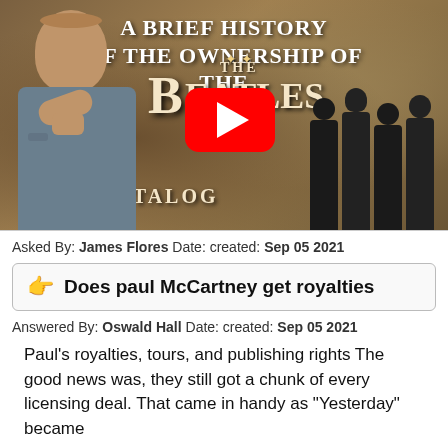[Figure (screenshot): YouTube video thumbnail showing a bald man thinking with a Beatles catalog ownership history graphic, including a red YouTube play button, and silhouette of the Beatles on the right. Text reads 'A Brief History of the Ownership of The Beatles Catalog']
Asked By: James Flores Date: created: Sep 05 2021
Does paul McCartney get royalties
Answered By: Oswald Hall Date: created: Sep 05 2021
Paul's royalties, tours, and publishing rights The good news was, they still got a chunk of every licensing deal. That came in handy as “Yesterday” became